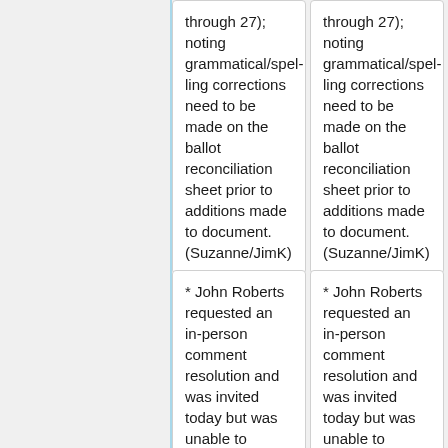through 27); noting grammatical/spelling corrections need to be made on the ballot reconciliation sheet prior to additions made to document. (Suzanne/JimK)
through 27); noting grammatical/spelling corrections need to be made on the ballot reconciliation sheet prior to additions made to document. (Suzanne/JimK)
* John Roberts requested an in-person comment resolution and was invited today but was unable to attend; in response, he has reviewed and approved the comment
* John Roberts requested an in-person comment resolution and was invited today but was unable to attend; in response, he has reviewed and approved the comment